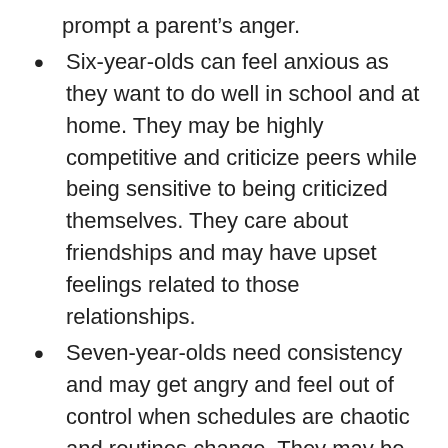prompt a parent's anger.
Six-year-olds can feel anxious as they want to do well in school and at home. They may be highly competitive and criticize peers while being sensitive to being criticized themselves. They care about friendships and may have upset feelings related to those relationships.
Seven-year-olds need consistency and may get angry and feel out of control when schedules are chaotic and routines change. They may be moody and require reassurance from adults. They take school and homework seriously and may even feel sick from worrying about tests or assignments. They can take academic failure